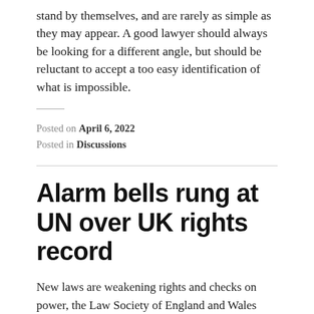stand by themselves, and are rarely as simple as they may appear. A good lawyer should always be looking for a different angle, but should be reluctant to accept a too easy identification of what is impossible.
Posted on April 6, 2022
Posted in Discussions
Alarm bells rung at UN over UK rights record
New laws are weakening rights and checks on power, the Law Society of England and Wales warned today as it submitted a report on human rights in the UK to the United Nations (UN) for its